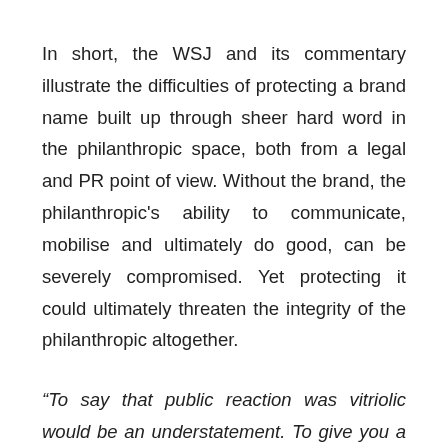In short, the WSJ and its commentary illustrate the difficulties of protecting a brand name built up through sheer hard word in the philanthropic space, both from a legal and PR point of view. Without the brand, the philanthropic's ability to communicate, mobilise and ultimately do good, can be severely compromised. Yet protecting it could ultimately threaten the integrity of the philanthropic altogether.
“To say that public reaction was vitriolic would be an understatement. To give you a flavour one anonymous critic wrote to me that I was evil, adding, “No wonder your partner killed himself”” More content here is cut off...